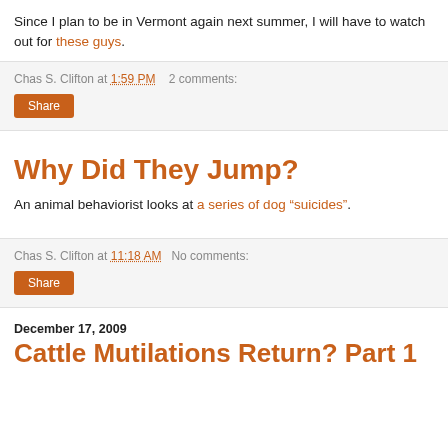Since I plan to be in Vermont again next summer, I will have to watch out for these guys.
Chas S. Clifton at 1:59 PM   2 comments:
Share
Why Did They Jump?
An animal behaviorist looks at a series of dog "suicides".
Chas S. Clifton at 11:18 AM   No comments:
Share
December 17, 2009
Cattle Mutilations Return? Part 1